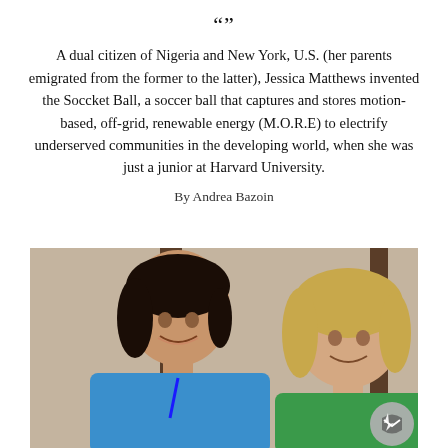A dual citizen of Nigeria and New York, U.S. (her parents emigrated from the former to the latter), Jessica Matthews invented the Soccket Ball, a soccer ball that captures and stores motion-based, off-grid, renewable energy (M.O.R.E) to electrify underserved communities in the developing world, when she was just a junior at Harvard University.
By Andrea Bazoin
[Figure (photo): Photo of two young women smiling, one on the left wearing a blue shirt with a lanyard, one on the right wearing a green shirt, with a wood-paneled background. A Facebook Messenger icon button appears in the bottom right corner.]